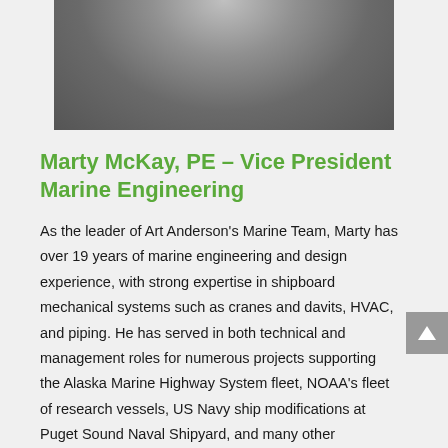[Figure (photo): Black and white photo of a person, showing torso/shoulders area with a textured sweater or jacket]
Marty McKay, PE – Vice President Marine Engineering
As the leader of Art Anderson's Marine Team, Marty has over 19 years of marine engineering and design experience, with strong expertise in shipboard mechanical systems such as cranes and davits, HVAC, and piping. He has served in both technical and management roles for numerous projects supporting the Alaska Marine Highway System fleet, NOAA's fleet of research vessels, US Navy ship modifications at Puget Sound Naval Shipyard, and many other commercial and government-owned vessels. He has